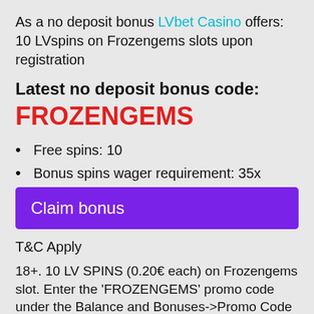As a no deposit bonus LVbet Casino offers: 10 LVspins on Frozengems slots upon registration
Latest no deposit bonus code:
FROZENGEMS
Free spins: 10
Bonus spins wager requirement: 35x
Claim bonus
T&C Apply
18+. 10 LV SPINS (0.20€ each) on Frozengems slot. Enter the 'FROZENGEMS' promo code under the Balance and Bonuses->Promo Code page. Wagering req. 35x which must be fulfilled on Play n Go games. Max transferable or